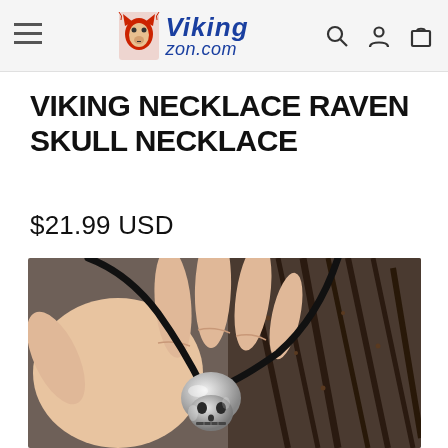vikingzon.com
VIKING NECKLACE RAVEN SKULL NECKLACE
$21.99 USD
[Figure (photo): Close-up photo of a hand holding a silver Viking raven skull pendant on a black leather cord, with dark twigs in the background.]